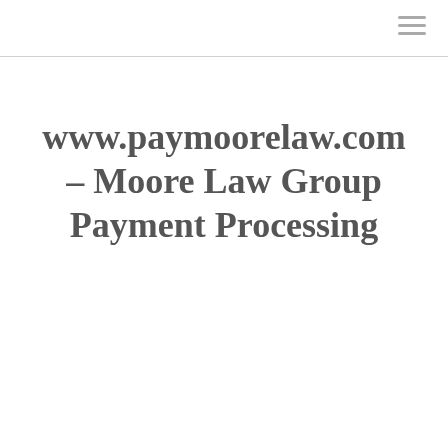www.paymoorelaw.com – Moore Law Group Payment Processing